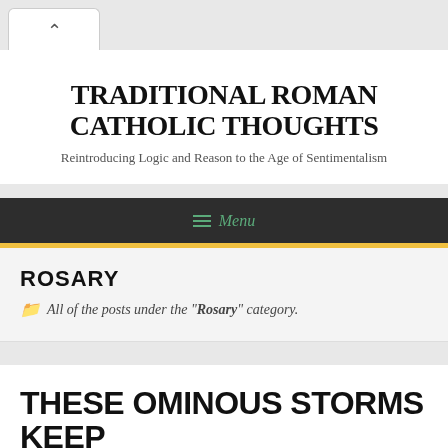^
TRADITIONAL ROMAN CATHOLIC THOUGHTS
Reintroducing Logic and Reason to the Age of Sentimentalism
≡ Menu
ROSARY
All of the posts under the "Rosary" category.
THESE OMINOUS STORMS KEEP